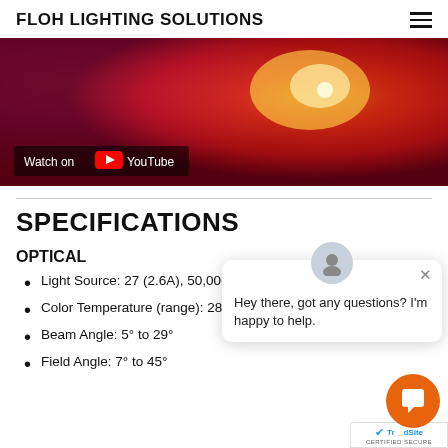FLOH LIGHTING SOLUTIONS
[Figure (screenshot): YouTube video thumbnail showing colorful LED lighting in red and purple tones with 'Watch on YouTube' overlay button]
SPECIFICATIONS
OPTICAL
Light Source: 27 (2.6A), 50,000 ho
Color Temperature (range): 2800 to 10000 K
Beam Angle: 5° to 29°
Field Angle: 7° to 45°